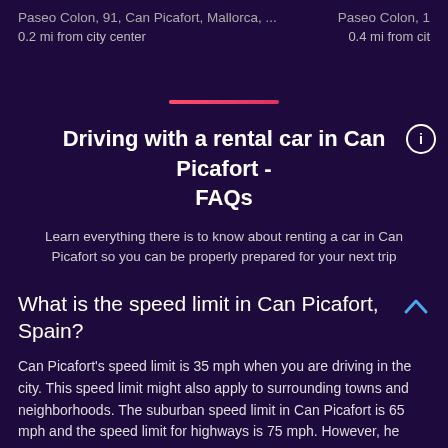Paseo Colon, 91, Can Picafort, Mallorca, ...
Paseo Colon, 1
0.2 mi from city center
0.4 mi from cit
Driving with a rental car in Can Picafort - FAQs
Learn everything there is to know about renting a car in Can Picafort so you can be properly prepared for your next trip
What is the speed limit in Can Picafort, Spain?
Can Picafort's speed limit is 35 mph when you are driving in the city. This speed limit might also apply to surrounding towns and neighborhoods. The suburban speed limit in Can Picafort is 65 mph and the speed limit for highways is 75 mph. However, he